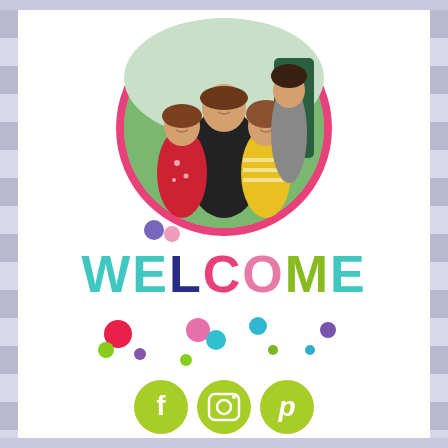[Figure (photo): Family photo of two adults and two young girls in a circular frame with pink border, set on white background with colorful decorative dots]
WELCOME
[Figure (infographic): Colorful scattered decorative dots in pink, green, purple, teal, and magenta colors]
[Figure (infographic): Three lime-green circular social media icons: Facebook (f), Instagram (camera), Pinterest (p)]